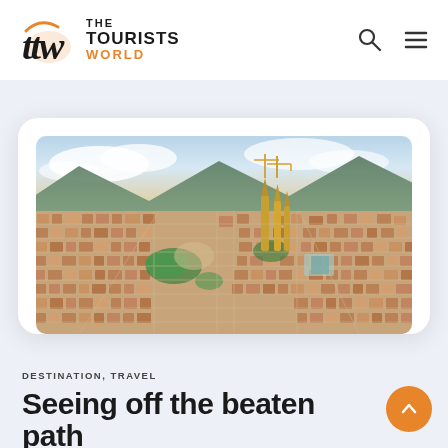THE TOURISTS WORLD
[Figure (photo): Aerial view of Barcelona city showing the Sagrada Família cathedral and dense urban grid with mountains in the background]
DESTINATION, TRAVEL
Seeing off the beaten path